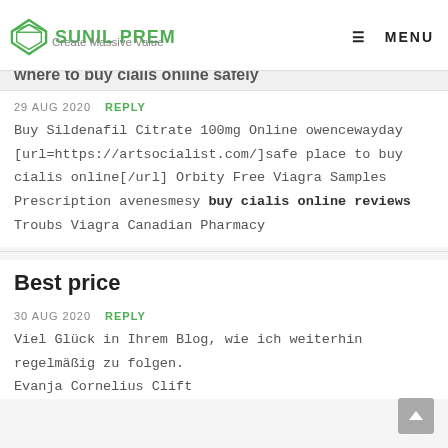SUNIL PREM — Create Massive Value — MENU
where to buy cialis online safely
29 AUG 2020   REPLY
Buy Sildenafil Citrate 100mg Online owencewayday [url=https://artsocialist.com/]safe place to buy cialis online[/url] Orbity Free Viagra Samples Prescription avenesmesy buy cialis online reviews Troubs Viagra Canadian Pharmacy
Best price
30 AUG 2020   REPLY
Viel Glück in Ihrem Blog, wie ich weiterhin regelmäßig zu folgen.
Evanja Cornelius Clift